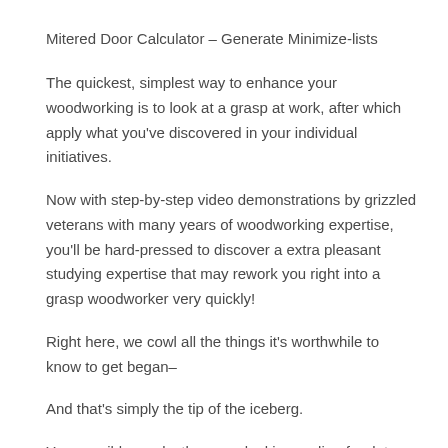Mitered Door Calculator – Generate Minimize-lists
The quickest, simplest way to enhance your woodworking is to look at a grasp at work, after which apply what you've discovered in your individual initiatives.
Now with step-by-step video demonstrations by grizzled veterans with many years of woodworking expertise, you'll be hard-pressed to discover a extra pleasant studying expertise that may rework you right into a grasp woodworker very quickly!
Right here, we cowl all the things it's worthwhile to know to get began–
And that's simply the tip of the iceberg.
You possibly can lastly cease looking on-line for data as a result of all the things it's worthwhile to know is correct right here in